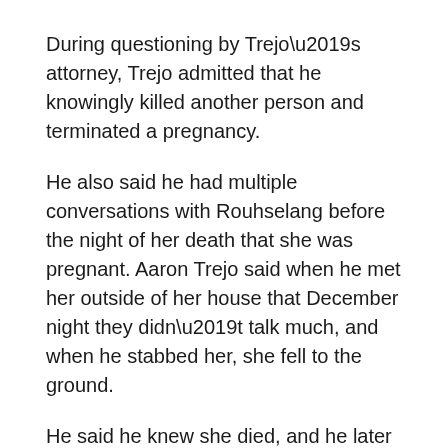During questioning by Trejo’s attorney, Trejo admitted that he knowingly killed another person and terminated a pregnancy.
He also said he had multiple conversations with Rouhselang before the night of her death that she was pregnant. Aaron Trejo said when he met her outside of her house that December night they didn’t talk much, and when he stabbed her, she fell to the ground.
He said he knew she died, and he later determined the baby also died.
While it was not discussed in court today, in the days after Rouhselang’s death, Trejo told police that he put her body in a dumpster behind a restaurant.